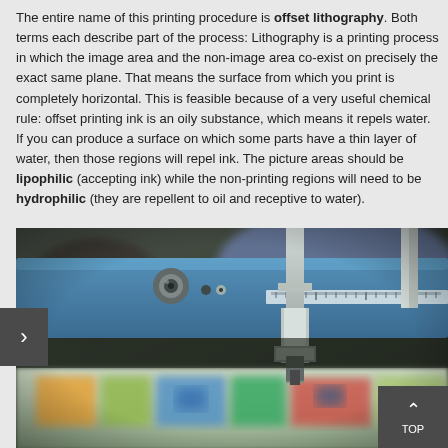The entire name of this printing procedure is offset lithography. Both terms each describe part of the process: Lithography is a printing process in which the image area and the non-image area co-exist on precisely the exact same plane. That means the surface from which you print is completely horizontal. This is feasible because of a very useful chemical rule: offset printing ink is an oily substance, which means it repels water. If you can produce a surface on which some parts have a thin layer of water, then those regions will repel ink. The picture areas should be lipophilic (accepting ink) while the non-printing regions will need to be hydrophilic (they are repellent to oil and receptive to water).
[Figure (photo): Close-up photograph of an offset lithography printing press machine, showing blue metallic components, rollers, and printed sheets with colorful images passing through the press.]